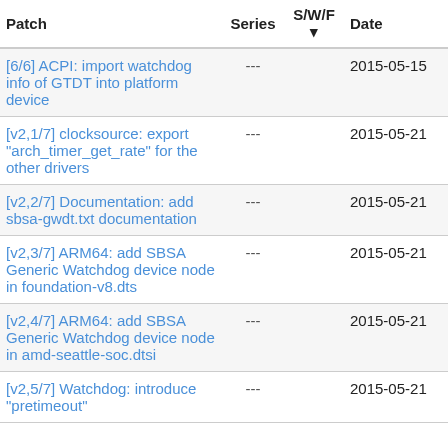| Patch | Series | S/W/F | Date | Submitter |
| --- | --- | --- | --- | --- |
| [6/6] ACPI: import watchdog info of GTDT into platform device | --- |  | 2015-05-15 | Fu Wei Fu |
| [v2,1/7] clocksource: export "arch_timer_get_rate" for the other drivers | --- |  | 2015-05-21 | Fu Wei Fu |
| [v2,2/7] Documentation: add sbsa-gwdt.txt documentation | --- |  | 2015-05-21 | Fu Wei Fu |
| [v2,3/7] ARM64: add SBSA Generic Watchdog device node in foundation-v8.dts | --- |  | 2015-05-21 | Fu Wei Fu |
| [v2,4/7] ARM64: add SBSA Generic Watchdog device node in amd-seattle-soc.dtsi | --- |  | 2015-05-21 | Fu Wei Fu |
| [v2,5/7] Watchdog: introduce "pretimeout" | --- |  | 2015-05-21 | Fu Wei Fu |